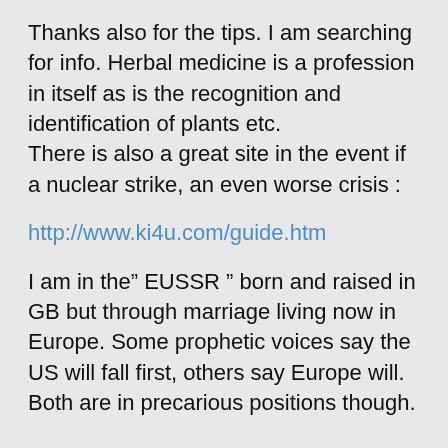Thanks also for the tips. I am searching for info. Herbal medicine is a profession in itself as is the recognition and identification of plants etc.
There is also a great site in the event if a nuclear strike, an even worse crisis :
http://www.ki4u.com/guide.htm
I am in the” EUSSR ” born and raised in GB but through marriage living now in Europe. Some prophetic voices say the US will fall first, others say Europe will. Both are in precarious positions though.